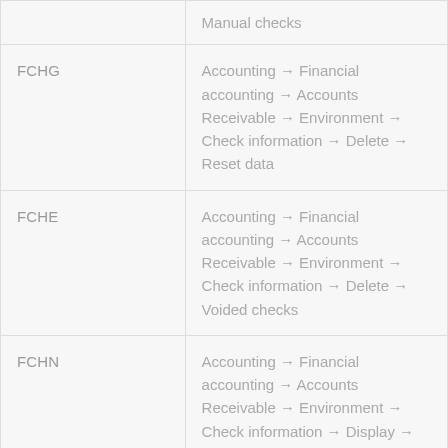| Code | Path |
| --- | --- |
|  | Manual checks |
| FCHG | Accounting → Financial accounting → Accounts Receivable → Environment → Check information → Delete → Reset data |
| FCHE | Accounting → Financial accounting → Accounts Receivable → Environment → Check information → Delete → Voided checks |
| FCHN | Accounting → Financial accounting → Accounts Receivable → Environment → Check information → Display → |